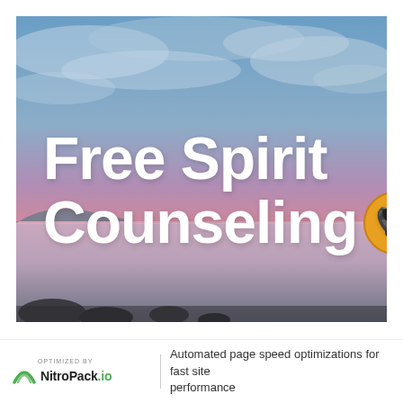[Figure (photo): Coastal sunset scene with cloudy blue and pink sky over calm water with rocks, used as hero background image for Free Spirit Counseling]
Free Spirit Counseling
[Figure (logo): NitroPack.io logo with green arc and text 'OPTIMIZED BY NitroPack.io']
Automated page speed optimizations for fast site performance